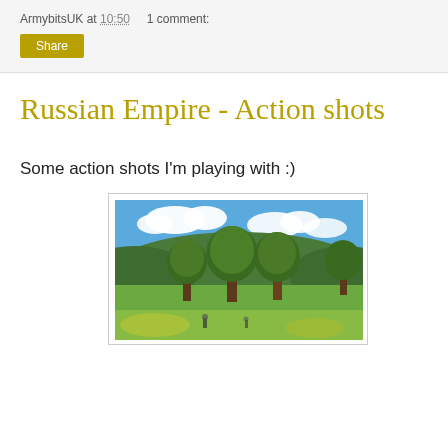ArmybitsUK at 10:50    1 comment:
Share
Russian Empire - Action shots
Some action shots I'm playing with :)
[Figure (photo): Outdoor landscape photo showing green trees with rounded canopies against a blue sky with white clouds, rolling green hills in the background, and a grassy field in the foreground with small figures visible.]